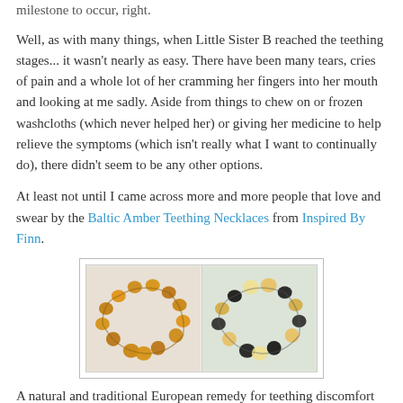milestone to occur, right.
Well, as with many things, when Little Sister B reached the teething stages... it wasn't nearly as easy. There have been many tears, cries of pain and a whole lot of her cramming her fingers into her mouth and looking at me sadly. Aside from things to chew on or frozen washcloths (which never helped her) or giving her medicine to help relieve the symptoms (which isn't really what I want to continually do), there didn't seem to be any other options.
At least not until I came across more and more people that love and swear by the Baltic Amber Teething Necklaces from Inspired By Finn.
[Figure (photo): Two photos of amber teething necklaces side by side. Left photo shows a honey/cognac colored amber necklace arranged in a circle on a white background. Right photo shows a multi-colored amber necklace with black, honey, and ivory beads arranged in a circle on a white background.]
A natural and traditional European remedy for teething discomfort for hundreds of years, when Baltic amber is worn